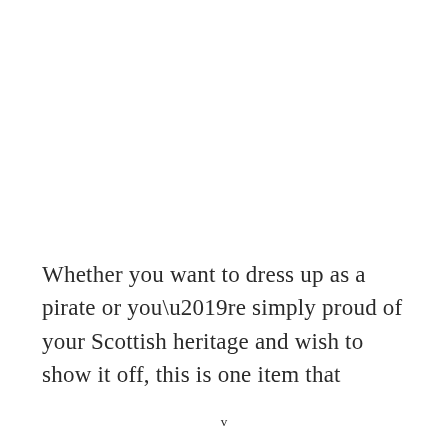Whether you want to dress up as a pirate or you’re simply proud of your Scottish heritage and wish to show it off, this is one item that
v